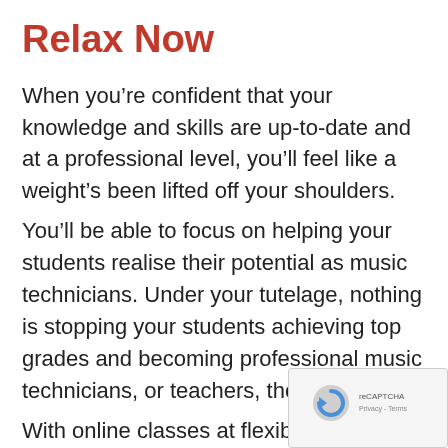Relax Now
When you’re confident that your knowledge and skills are up-to-date and at a professional level, you’ll feel like a weight’s been lifted off your shoulders.
You’ll be able to focus on helping your students realise their potential as music technicians. Under your tutelage, nothing is stopping your students achieving top grades and becoming professional music technicians, or teachers, themselves.
With online classes at flexible times, we couldn’t make it easier for you to improve
[Figure (logo): reCAPTCHA logo with Privacy and Terms text overlay in bottom-right corner]